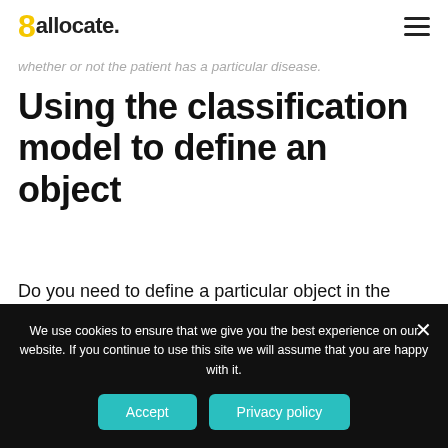8allocate (logo) | hamburger menu
whether or not the patient has a particular disease.
Using the classification model to define an object
Do you need to define a particular object in the image, to determine whether the review is positive or negative or to tell junk email from a good one? The classification model is a way to go!
We use cookies to ensure that we give you the best experience on our website. If you continue to use this site we will assume that you are happy with it.
Accept | Privacy policy